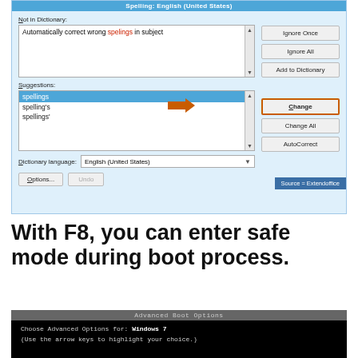[Figure (screenshot): Spell checker dialog box showing 'Not in Dictionary' field with text 'Automatically correct wrong spelings in subject', Suggestions list with 'spellings' selected (highlighted in blue), and buttons: Ignore Once, Ignore All, Add to Dictionary, Change (highlighted with orange border), Change All, AutoCorrect. Dictionary language set to English (United States). Orange arrow pointing to Change button. Source = Extendoffice badge.]
With F8, you can enter safe mode during boot process.
[Figure (screenshot): Advanced Boot Options screen showing black terminal background with gray title bar 'Advanced Boot Options', text 'Choose Advanced Options for: Windows 7' and '(Use the arrow keys to highlight your choice )']